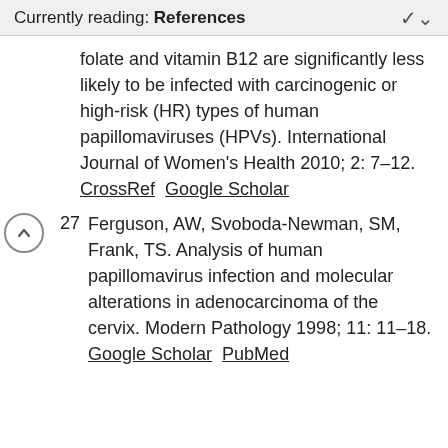Currently reading: References
folate and vitamin B12 are significantly less likely to be infected with carcinogenic or high-risk (HR) types of human papillomaviruses (HPVs). International Journal of Women's Health 2010; 2: 7–12. CrossRef  Google Scholar
27  Ferguson, AW, Svoboda-Newman, SM, Frank, TS. Analysis of human papillomavirus infection and molecular alterations in adenocarcinoma of the cervix. Modern Pathology 1998; 11: 11–18. Google Scholar  PubMed